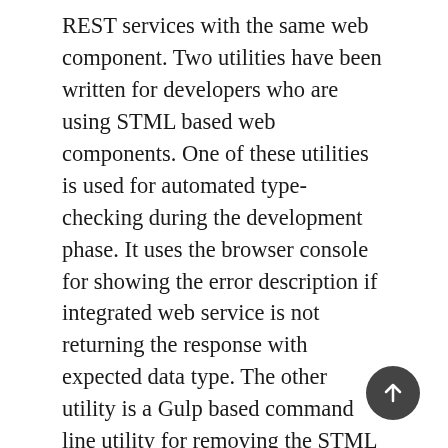REST services with the same web component. Two utilities have been written for developers who are using STML based web components. One of these utilities is used for automated type-checking during the development phase. It uses the browser console for showing the error description if integrated web service is not returning the response with expected data type. The other utility is a Gulp based command line utility for removing the STML attributes before going in production. This ensures the delivery of STML free web pages in the production environment. Both of these utilities have been tested to perform type checking of REST services through STML based web components and results have confirmed the feasibility of evaluating service behavior only through HTML. Currently, STML is designed for automated type-checking of integrated REST services but it can be